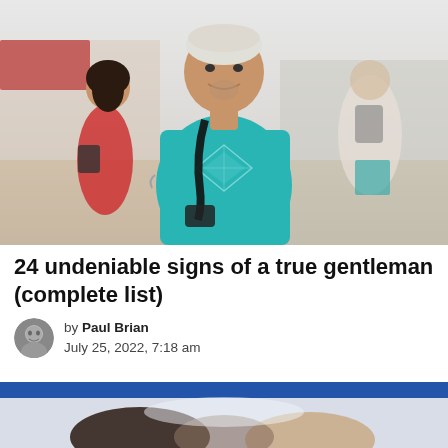[Figure (photo): A young man in a teal/turquoise t-shirt with a geometric diamond graphic, wearing a black crossbody bag strap, smiling at the camera. He is standing outdoors in a crowd at what appears to be a festival or outdoor event. A woman in a red dress is visible to his left, and other people in the background.]
24 undeniable signs of a true gentleman (complete list)
by Paul Brian
July 25, 2022, 7:18 am
[Figure (photo): Partial image of what appears to be two people shaking hands, shown from a low angle against a blue banner/background, partially cut off at bottom of page.]